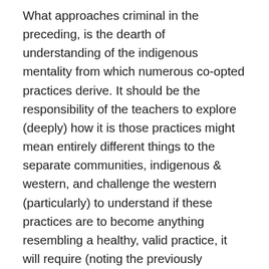What approaches criminal in the preceding, is the dearth of understanding of the indigenous mentality from which numerous co-opted practices derive. It should be the responsibility of the teachers to explore (deeply) how it is those practices might mean entirely different things to the separate communities, indigenous & western, and challenge the western (particularly) to understand if these practices are to become anything resembling a healthy, valid practice, it will require (noting the previously mentioned work of MJ Zimmerman) a radical deconstruction of the western mentality; in effect, doing what westerner's simply do not do – take responsibility for the damage western culture is inflicting not only on the other cultures, but on life itself. This should require, at minimum, a radical departure from pursuit of wealth in a context of success per the western modality. How many could this? Certainly, I am not sure that I would be able to